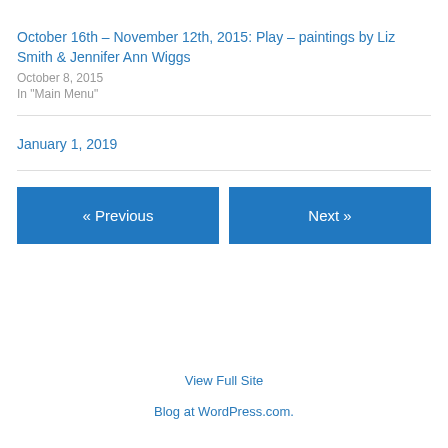October 16th – November 12th, 2015: Play – paintings by Liz Smith & Jennifer Ann Wiggs
October 8, 2015
In "Main Menu"
January 1, 2019
« Previous
Next »
View Full Site
Blog at WordPress.com.